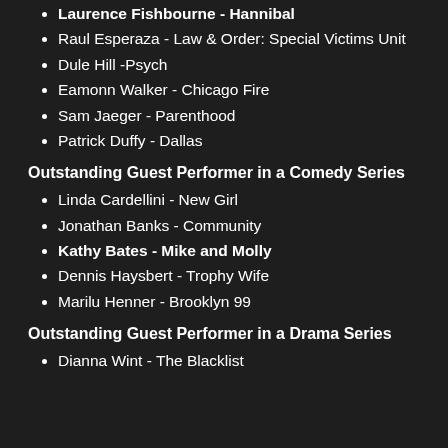Laurence Fishbourne - Hannibal
Raul Esperaza - Law & Order: Special Victims Unit
Dule Hill -Psych
Eamonn Walker - Chicago Fire
Sam Jaeger - Parenthood
Patrick Duffy - Dallas
Outstanding Guest Performer in a Comedy Series
Linda Cardellini - New Girl
Jonathan Banks - Community
Kathy Bates - Mike and Molly
Dennis Haysbert - Trophy Wife
Marilu Henner - Brooklyn 99
Outstanding Guest Performer in a Drama Series
Dianna Wint - The Blacklist